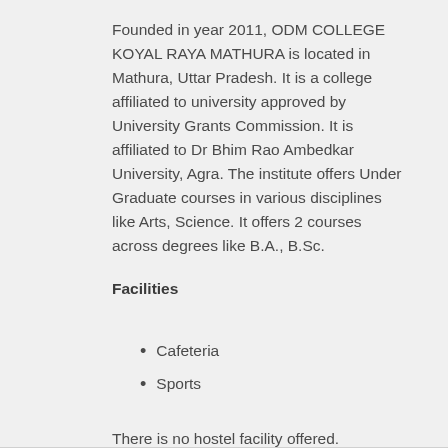Founded in year 2011, ODM COLLEGE KOYAL RAYA MATHURA is located in Mathura, Uttar Pradesh. It is a college affiliated to university approved by University Grants Commission. It is affiliated to Dr Bhim Rao Ambedkar University, Agra. The institute offers Under Graduate courses in various disciplines like Arts, Science. It offers 2 courses across degrees like B.A., B.Sc.
Facilities
Cafeteria
Sports
There is no hostel facility offered.